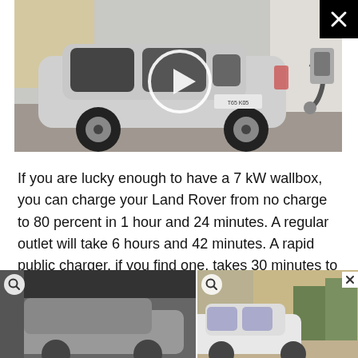[Figure (photo): A silver Land Rover SUV plugged into a wall charger, parked on a gravel surface next to a modern building. A white circular play button overlay is visible on the image. A black X close button is in the top-right corner.]
If you are lucky enough to have a 7 kW wallbox, you can charge your Land Rover from no charge to 80 percent in 1 hour and 24 minutes. A regular outlet will take 6 hours and 42 minutes. A rapid public charger, if you find one, takes 30 minutes to do the job.
[Figure (photo): Thumbnail photo of a grey car (left), partially visible, with a search/zoom icon in the top-left.]
[Figure (photo): Thumbnail photo of a white car parked outside a building (right), with a search/zoom icon in the top-left and an X close button in top-right.]